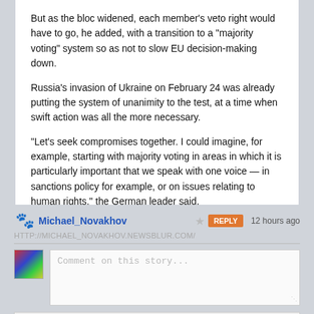But as the bloc widened, each member's veto right would have to go, he added, with a transition to a "majority voting" system so as not to slow EU decision-making down.
Russia's invasion of Ukraine on February 24 was already putting the system of unanimity to the test, at a time when swift action was all the more necessary.
"Let's seek compromises together. I could imagine, for example, starting with majority voting in areas in which it is particularly important that we speak with one voice — in sanctions policy for example, or on issues relating to human rights," the German leader said.
Read the whole story · ·
Michael_Novakhov
HTTP://MICHAEL_NOVAKHOV.NEWSBLUR.COM/
Comment on this story...
Share this story